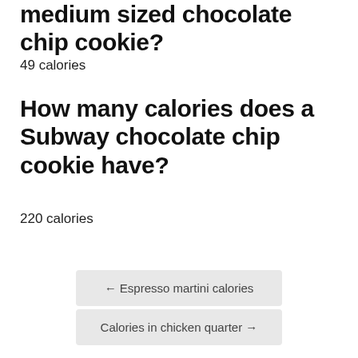medium sized chocolate chip cookie?
49 calories
How many calories does a Subway chocolate chip cookie have?
220 calories
← Espresso martini calories
Calories in chicken quarter →